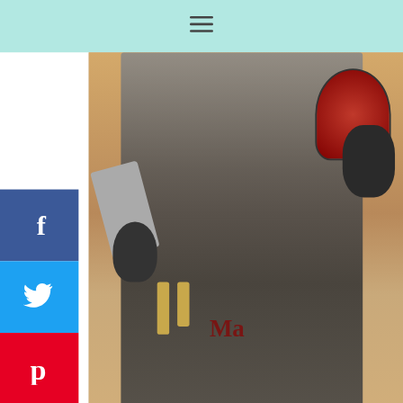[Figure (photo): Top mint/teal navigation bar with hamburger menu icon]
[Figure (photo): Person in black apron and gloves holding a red bottle/jar, standing at a bar counter with wooden taps]
[Figure (logo): Mumblr social sharing logo (orange M shape)]
While in Ohio we spent time with family, and checked out some local spots.
[Figure (photo): Baby/toddler sitting on a dark leather couch, looking at camera]